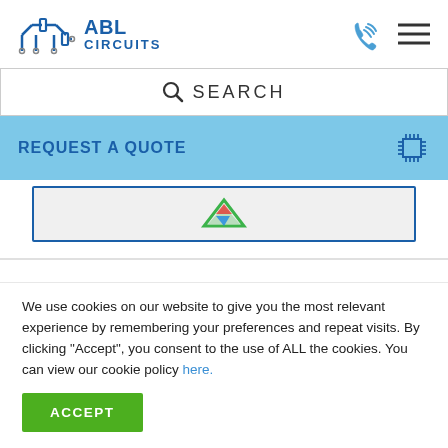[Figure (logo): ABL Circuits logo with circuit board graphic and company name]
[Figure (screenshot): Search bar with magnifying glass icon and SEARCH text]
REQUEST A QUOTE
[Figure (screenshot): Partial product image with colorful graphic on grey background inside blue border]
We use cookies on our website to give you the most relevant experience by remembering your preferences and repeat visits. By clicking “Accept”, you consent to the use of ALL the cookies. You can view our cookie policy here.